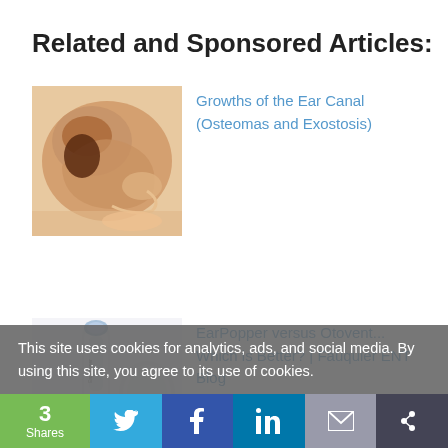Related and Sponsored Articles:
[Figure (photo): Close-up photo of ear canal showing skin texture and possible growth]
Growths of the Ear Canal (Osteomas and Exostosis)
[Figure (photo): Medical device - EarPopper device and Otovent balloon on white background]
EarPopper versus Otovent... Which is Better? | Fauquier ENT Blog
This site uses cookies for analytics, ads, and social media. By using this site, you agree to its use of cookies.
3 Shares